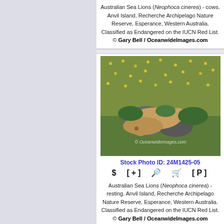Australian Sea Lions (Neophoca cinerea) - cows. Anvil Island, Recherche Archipelago Nature Reserve, Esperance, Western Australia. Classified as Endangered on the IUCN Red List. © Gary Bell / OceanwideImages.com
[Figure (photo): Australian Sea Lions resting on rocks amid green and yellow wildflowers, with OceanwideImages.com watermark]
Stock Photo ID: 24M1425-05
$ [+] [zoom] [cart] [P]
Australian Sea Lions (Neophoca cinerea) - resting. Anvil Island, Recherche Archipelago Nature Reserve, Esperance, Western Australia. Classified as Endangered on the IUCN Red List. © Gary Bell / OceanwideImages.com
[Figure (photo): Partial view of Australian Sea Lions in similar green landscape setting]